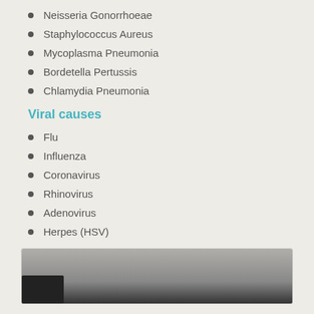Neisseria Gonorrhoeae
Staphylococcus Aureus
Mycoplasma Pneumonia
Bordetella Pertussis
Chlamydia Pneumonia
Viral causes
Flu
Influenza
Coronavirus
Rhinovirus
Adenovirus
Herpes (HSV)
[Figure (photo): Partial photo at bottom of page, dark background with indistinct subject]